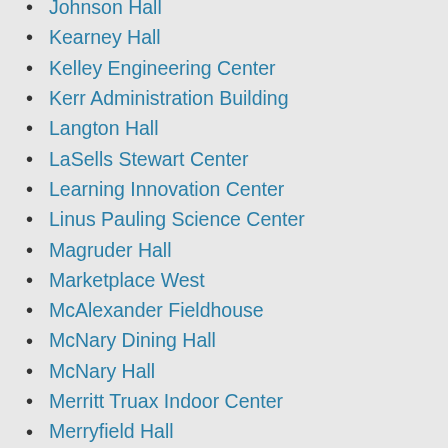Johnson Hall
Kearney Hall
Kelley Engineering Center
Kerr Administration Building
Langton Hall
LaSells Stewart Center
Learning Innovation Center
Linus Pauling Science Center
Magruder Hall
Marketplace West
McAlexander Fieldhouse
McNary Dining Hall
McNary Hall
Merritt Truax Indoor Center
Merryfield Hall
Milam Hall
Milne Computer Center
Moreland Hall
Motor Pool
Nash Hall